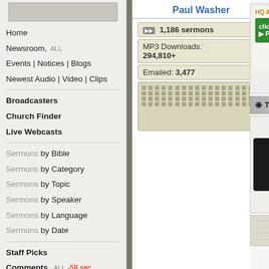[Figure (screenshot): Top navigation image placeholder (gray box)]
Home
Newsroom, ALL
Events | Notices | Blogs
Newest Audio | Video | Clips
Broadcasters
Church Finder
Live Webcasts
Sermons by Bible
Sermons by Category
Sermons by Topic
Sermons by Speaker
Sermons by Language
Sermons by Date
Staff Picks
Comments, ALL -58 sec
Top Sermons
Online Bible
Paul Washer
1,186 sermons
MP3 Downloads: 294,810+
Emailed: 3,477
[Figure (infographic): Dot grid chart area showing sermon activity]
[Figure (screenshot): HQ Audio play button with green click here to play button and headphone icon]
[Figure (screenshot): Transcript button bar]
[Figure (photo): Video thumbnail showing person speaking at event]